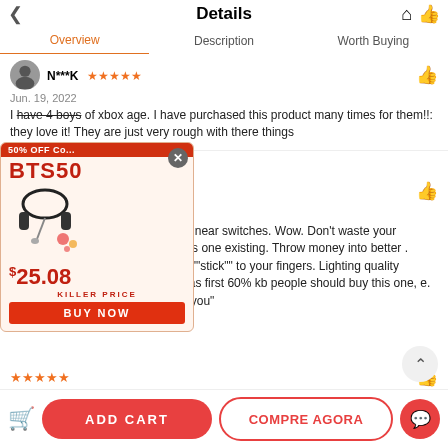Details
Overview | Description | Worth Buying
N***K ★★★★★ Jun. 19, 2022
I have 4 boys of xbox age. I have purchased this product many times for them!!: they love it! They are just very rough with there things
S***Q ★★★★★ Jun. 16, 2022
wireless, 60%, mechanical, silent linear switches. Wow. Don't waste your m/ducky other keyboards when this one existing. Throw money into better. Keycaps feels nice and they don't ""stick"" to your fingers. Lighting quality brightness is very decent At least as first 60% kb people should buy this one, e. Maybe this format will not even fit you"
[Figure (infographic): Advertisement popup for BTS50 headset at $25.08 killer price with BUY NOW button and 50% OFF label]
★★★★★ ..1, 2022
best budget keyboard i'm very impressed with the price and the quality
K***T ★★★★★ Jun. 6, 2022